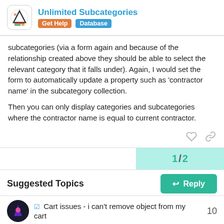Unlimited Subcategories | Get Help | Database
subcategories (via a form again and because of the relationship created above they should be able to select the relevant category that it falls under). Again, I would set the form to automatically update a property such as 'contractor name' in the subcategory collection.

Then you can only display categories and subcategories where the contractor name is equal to current contractor.
1 / 2
Reply
Suggested Topics
✓ Cart issues - i can't remove object from my cart  10